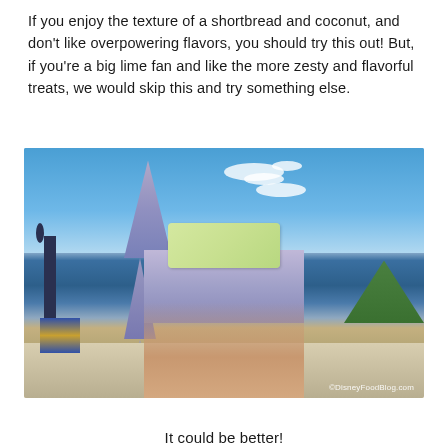If you enjoy the texture of a shortbread and coconut, and don't like overpowering flavors, you should try this out! But, if you're a big lime fan and like the more zesty and flavorful treats, we would skip this and try something else.
[Figure (photo): A hand holding a small square green lime coconut shortbread treat in front of Cinderella's Castle at Walt Disney World Magic Kingdom on a sunny blue sky day. Watermark reads ©DisneyFoodBlog.com]
It could be better!